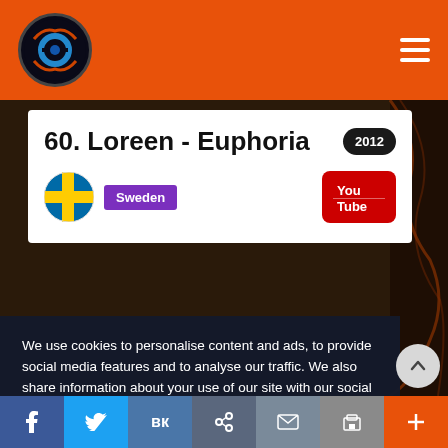60. Loreen - Euphoria | 2012
60. Loreen - Euphoria
Sweden
We use cookies to personalise content and ads, to provide social media features and to analyse our traffic. We also share information about your use of our site with our social media, advertising and analytics partners.  I want more information
I agree